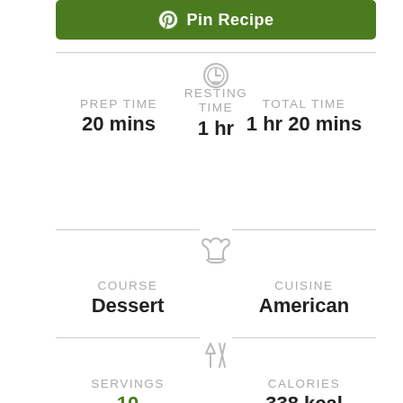[Figure (other): Pinterest Pin Recipe green button with Pinterest logo icon]
PREP TIME
20 mins
RESTING TIME
1 hr
TOTAL TIME
1 hr 20 mins
COURSE
Dessert
CUISINE
American
SERVINGS
10
CALORIES
338 kcal